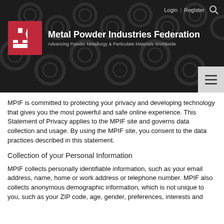Metal Powder Industries Federation | Advancing Powder Metallurgy & Particulate Materials Worldwide
MPIF is committed to protecting your privacy and developing technology that gives you the most powerful and safe online experience. This Statement of Privacy applies to the MPIF site and governs data collection and usage. By using the MPIF site, you consent to the data practices described in this statement.
Collection of your Personal Information
MPIF collects personally identifiable information, such as your email address, name, home or work address or telephone number. MPIF also collects anonymous demographic information, which is not unique to you, such as your ZIP code, age, gender, preferences, interests and